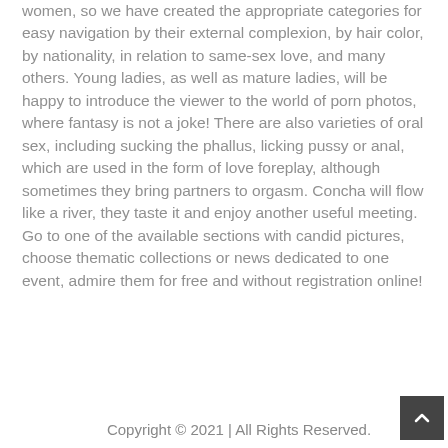women, so we have created the appropriate categories for easy navigation by their external complexion, by hair color, by nationality, in relation to same-sex love, and many others. Young ladies, as well as mature ladies, will be happy to introduce the viewer to the world of porn photos, where fantasy is not a joke! There are also varieties of oral sex, including sucking the phallus, licking pussy or anal, which are used in the form of love foreplay, although sometimes they bring partners to orgasm. Concha will flow like a river, they taste it and enjoy another useful meeting. Go to one of the available sections with candid pictures, choose thematic collections or news dedicated to one event, admire them for free and without registration online!
Copyright © 2021 | All Rights Reserved.